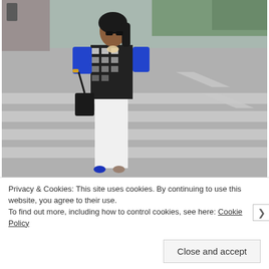[Figure (photo): A woman with dark hair and sunglasses stands on a pedestrian crosswalk. She wears a black and white patterned top with blue short sleeves, white cropped pants, blue shoes, and carries a black shoulder bag. The background shows a street and greenery.]
Privacy & Cookies: This site uses cookies. By continuing to use this website, you agree to their use.
To find out more, including how to control cookies, see here: Cookie Policy
Close and accept